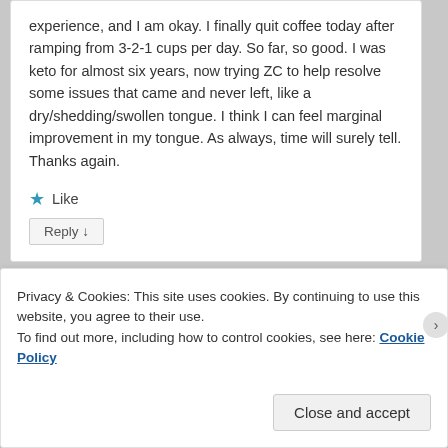experience, and I am okay. I finally quit coffee today after ramping from 3-2-1 cups per day. So far, so good. I was keto for almost six years, now trying ZC to help resolve some issues that came and never left, like a dry/shedding/swollen tongue. I think I can feel marginal improvement in my tongue. As always, time will surely tell. Thanks again.
★ Like
Reply ↓
Privacy & Cookies: This site uses cookies. By continuing to use this website, you agree to their use.
To find out more, including how to control cookies, see here: Cookie Policy
Close and accept